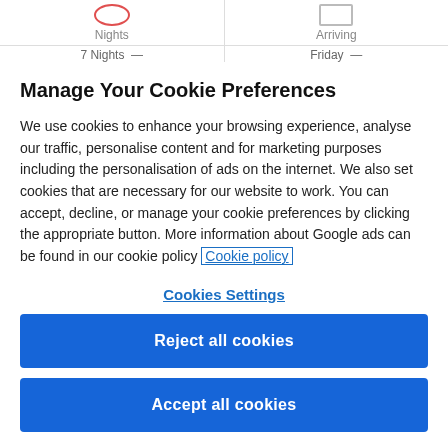[Figure (screenshot): Top UI bar showing 'Nights' and 'Arriving' labels with partial values '7 Nights' and 'Friday' visible, along with icon placeholders]
Manage Your Cookie Preferences
We use cookies to enhance your browsing experience, analyse our traffic, personalise content and for marketing purposes including the personalisation of ads on the internet. We also set cookies that are necessary for our website to work. You can accept, decline, or manage your cookie preferences by clicking the appropriate button. More information about Google ads can be found in our cookie policy Cookie policy
Cookies Settings
Reject all cookies
Accept all cookies